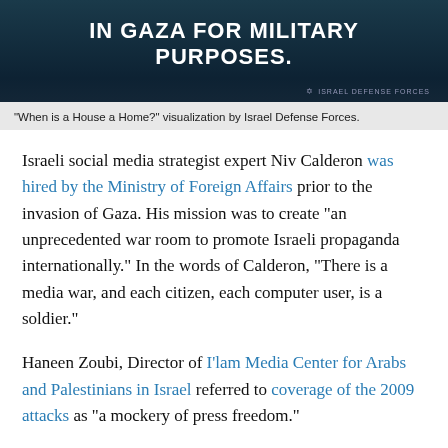[Figure (screenshot): Dark teal/navy banner image with bold white uppercase text reading 'IN GAZA FOR MILITARY PURPOSES.' with IDF watermark in bottom right]
"When is a House a Home?" visualization by Israel Defense Forces.
Israeli social media strategist expert Niv Calderon was hired by the Ministry of Foreign Affairs prior to the invasion of Gaza. His mission was to create "an unprecedented war room to promote Israeli propaganda internationally." In the words of Calderon, "There is a media war, and each citizen, each computer user, is a soldier."
Haneen Zoubi, Director of I'lam Media Center for Arabs and Palestinians in Israel referred to coverage of the 2009 attacks as "a mockery of press freedom."
In 2006, during the invasion of Lebanon, she denounced the Israeli press, saying they had "abandoned their